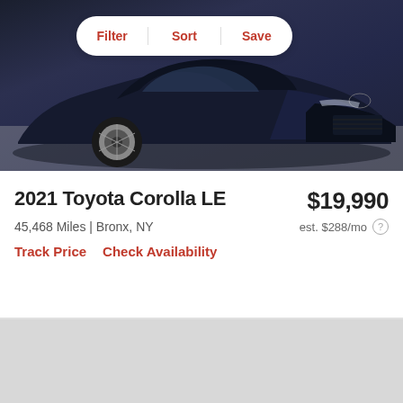[Figure (photo): Dark navy blue 2021 Toyota Corolla LE vehicle photograph showing front quarter view in a garage/showroom setting with gray concrete floor]
2021 Toyota Corolla LE
$19,990
45,468 Miles | Bronx, NY
est. $288/mo
Track Price
Check Availability
[Figure (photo): Partially visible next car listing showing gray placeholder image area with heart/favorite icon in upper right corner]